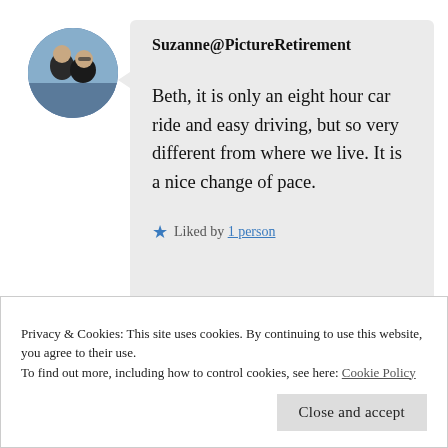[Figure (photo): Circular avatar photo showing two people outdoors]
Suzanne@PictureRetirement
Beth, it is only an eight hour car ride and easy driving, but so very different from where we live. It is a nice change of pace.
★ Liked by 1 person
Privacy & Cookies: This site uses cookies. By continuing to use this website, you agree to their use.
To find out more, including how to control cookies, see here: Cookie Policy
Close and accept